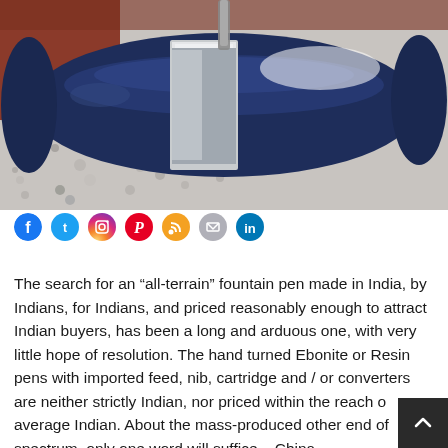[Figure (photo): Close-up photograph of a dark navy blue cylindrical fountain pen body resting on gravel/pebble ground, with a metallic chrome band/section visible, and a reddish-brown surface in the background.]
[Figure (infographic): Row of social media share icons: Facebook (blue circle), Twitter (blue circle), Instagram (pink/orange gradient circle), Pinterest (red circle), RSS (orange circle), Email/share (grey circle), LinkedIn (blue circle).]
The search for an “all-terrain” fountain pen made in India, by Indians, for Indians, and priced reasonably enough to attract Indian buyers, has been a long and arduous one, with very little hope of resolution. The hand turned Ebonite or Resin pens with imported feed, nib, cartridge and / or converters are neither strictly Indian, nor priced within the reach of the average Indian. About the mass-produced other end of the spectrum, only one word will suffice – China.